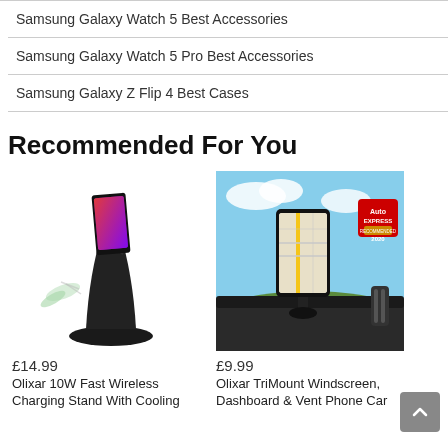Samsung Galaxy Watch 5 Best Accessories
Samsung Galaxy Watch 5 Pro Best Accessories
Samsung Galaxy Z Flip 4 Best Cases
Recommended For You
[Figure (photo): Olixar 10W Fast Wireless Charging Stand with cooling fan and a phone placed on it]
£14.99
Olixar 10W Fast Wireless Charging Stand With Cooling
[Figure (photo): Olixar TriMount Windscreen, Dashboard & Vent Phone Car Mount holding a phone showing a map, with Auto Express Recommended 2020 badge]
£9.99
Olixar TriMount Windscreen, Dashboard & Vent Phone Car